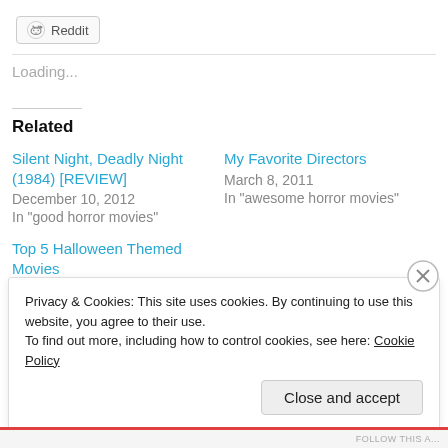[Figure (logo): Reddit share button with Reddit alien logo icon]
Loading...
Related
Silent Night, Deadly Night (1984) [REVIEW]
December 10, 2012
In "good horror movies"
My Favorite Directors
March 8, 2011
In "awesome horror movies"
Top 5 Halloween Themed Movies
Privacy & Cookies: This site uses cookies. By continuing to use this website, you agree to their use.
To find out more, including how to control cookies, see here: Cookie Policy
Close and accept